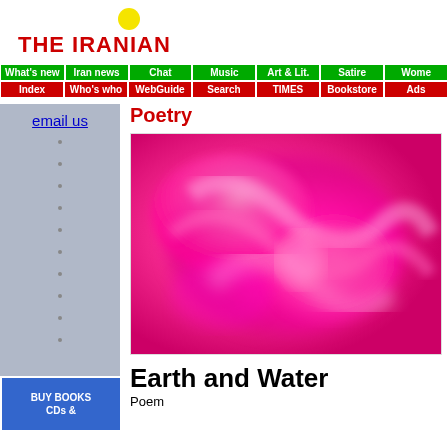THE IRANIAN
[Figure (screenshot): Navigation bar with green and red cells: What's new, Iran news, Chat, Music, Art & Lit., Satire, Wome(n), Index, Who's who, WebGuide, Search, TIMES, Bookstore, Ads]
email us
Poetry
[Figure (illustration): Abstract pink and magenta swirling pattern resembling a blurred rose or floral design]
Earth and Water
Poem